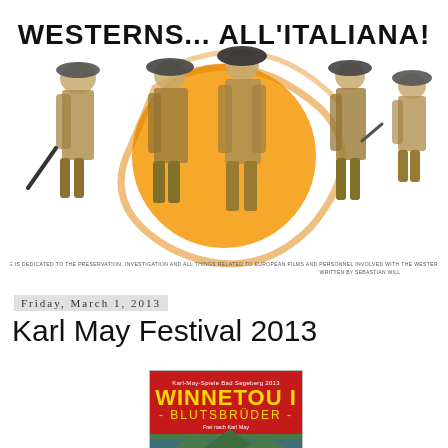[Figure (illustration): Western movie themed blog header banner with title 'WESTERNS... ALL'ITALIANA!' in bold black Impact font. Large orange sun/circle in center background. Five drawn figures of Western gunmen/cowboys in coats with hats, viewed from behind and sides. Subtitle text below in small caps.]
THIS BLOG IS DEDICATED TO THE PRESERVATION, INVESTIGATION AND ALL THINGS RELATED TO EUROPEAN FILMS AND PERSONNEL INVOLVED WITH THE WESTERN GENRE. WRITTEN BY SEBASTIAN WILL
Friday, March 1, 2013
Karl May Festival 2013
[Figure (photo): Book/poster cover for 'Winnetou I - Blutsbrüder' Karl-May-Spiele Bad Segeberg 2013, red background with yellow title text, landscape image at bottom.]